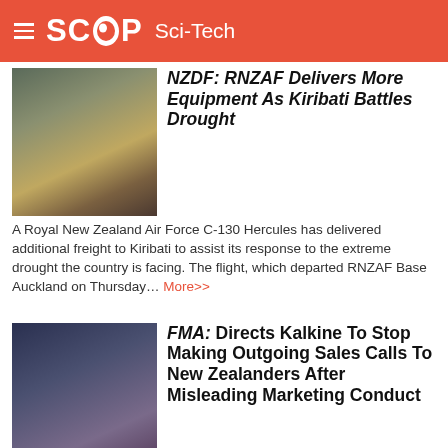SCOOP Sci-Tech
NZDF: RNZAF Delivers More Equipment As Kiribati Battles Drought
A Royal New Zealand Air Force C-130 Hercules has delivered additional freight to Kiribati to assist its response to the extreme drought the country is facing. The flight, which departed RNZAF Base Auckland on Thursday... More>>
FMA: Directs Kalkine To Stop Making Outgoing Sales Calls To New Zealanders After Misleading Marketing Conduct
The Financial Markets Authority (FMA) - Te Mana Tātai Hokohoko has directed Kalkine New Zealand Limited to stop making outgoing sales calls to people in New Zealand following concerns about the entity's misleading marketing conduct... More>>